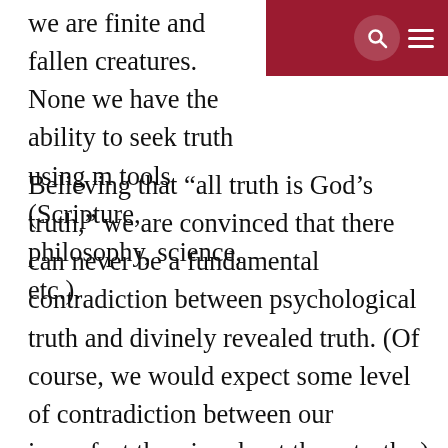We are finite and fallen creatures. None we have the ability to seek truth using many tools (Scripture, philosophy, science, etc.).
[Figure (other): Dark red navigation bar in top-right corner with a search icon (magnifying glass in circular button) and a hamburger menu icon (three horizontal white lines).]
Believing that “all truth is God’s truth,” we are convinced that there can never be a fundamental contradiction between psychological truth and divinely revealed truth. (Of course, we would expect some level of contradiction between our imperfect theories about these truths.) We encourage our students to recognize that there are diverse ways of pursuing knowledge, with an eye toward both that which is divinely revealed and that which is discovered through empirical or rational inquiry. This allows us to explore the methods and